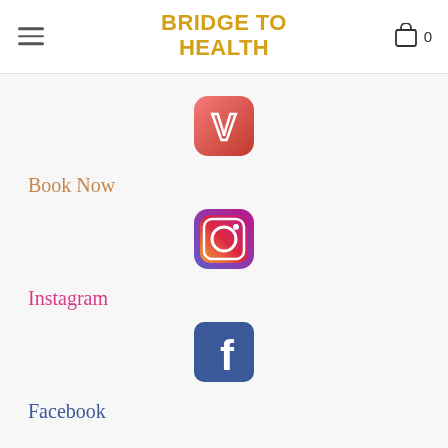BRIDGE TO HEALTH
[Figure (logo): Vagaro app icon: rounded square with pink-to-red gradient and white V symbol]
Book Now
[Figure (logo): Instagram logo: rounded square with gradient (purple to pink to orange) and camera outline]
Instagram
[Figure (logo): Facebook logo: blue rounded square with white lowercase f]
Facebook